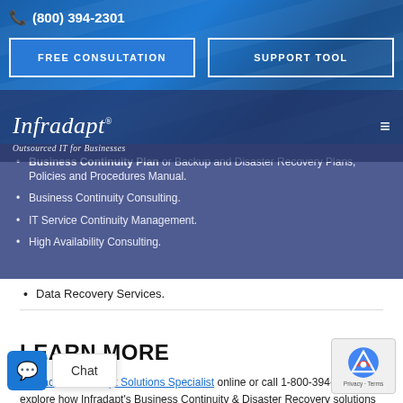(800) 394-2301
FREE CONSULTATION
SUPPORT TOOL
Infradapt®
Outsourced IT for Businesses
Business Continuity Plan or Backup and Disaster Recovery Plans, Policies and Procedures Manual.
Business Continuity Consulting.
IT Service Continuity Management.
High Availability Consulting.
Data Recovery Services.
LEARN MORE
Contact an Infradapt Solutions Specialist online or call 1-800-394-2301 to explore how Infradapt's Business Continuity & Disaster Recovery solutions can benefit your organization.